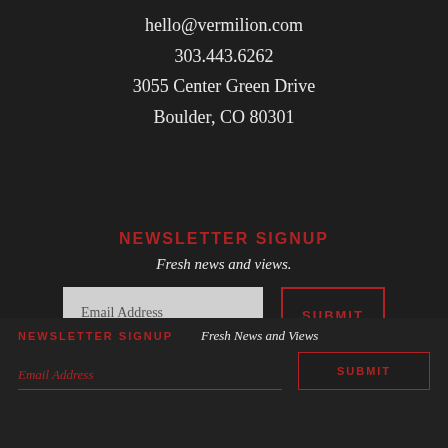hello@vermilion.com
303.443.6262
3055 Center Green Drive
Boulder, CO 80301
NEWSLETTER SIGNUP
Fresh news and views.
Email Address
SUBMIT
✕
NEWSLETTER SIGNUP
Fresh News and Views
Email Address
SUBMIT